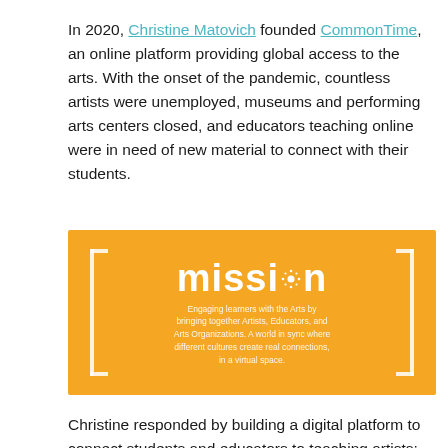In 2020, Christine Matovich founded CommonTime, an online platform providing global access to the arts. With the onset of the pandemic, countless artists were unemployed, museums and performing arts centers closed, and educators teaching online were in need of new material to connect with their students.
[Figure (infographic): Yellow/orange banner with the word 'mission' in large white bold text in the center, flanked by white bracket symbols. Below the title is smaller white text reading: 'Engaging learners with the Arts by bringing together Artists, Educators, and Arts Organizations. A world in sync where different cultures create real connections, in a virtual space.']
Christine responded by building a digital platform to connect students and educators to teaching artists; private art teachers to individual learners; and arts organizations to educational institutions—regardless of